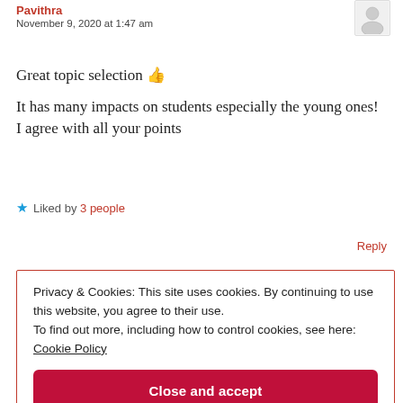Pavithra
November 9, 2020 at 1:47 am
Great topic selection 👍
It has many impacts on students especially the young ones! I agree with all your points
★ Liked by 3 people
Reply
Privacy & Cookies: This site uses cookies. By continuing to use this website, you agree to their use.
To find out more, including how to control cookies, see here: Cookie Policy
Close and accept